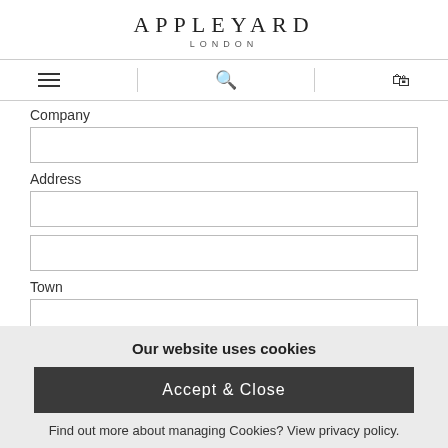APPLEYARD LONDON
Company
Address
Town
Our website uses cookies
Accept & Close
Find out more about managing Cookies? View privacy policy.